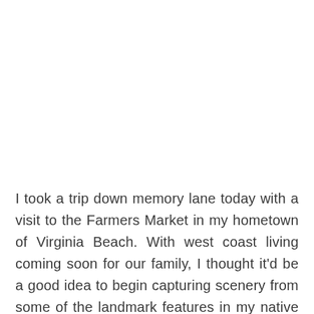I took a trip down memory lane today with a visit to the Farmers Market in my hometown of Virginia Beach. With west coast living coming soon for our family, I thought it'd be a good idea to begin capturing scenery from some of the landmark features in my native town. After all, Virginia Beach is a resort city with lots of attractions to please any traveler.